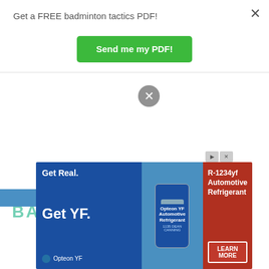Get a FREE badminton tactics PDF!
[Figure (screenshot): Green button labeled 'Send me my PDF!']
×
[Figure (screenshot): Video error overlay: 'No compatible source was found for this media.' with ezoic branding and report this ad link]
[Figure (screenshot): Advertisement banner: Get Real. Get YF. Opteon YF Automotive Refrigerant R-1234yf. Learn More button.]